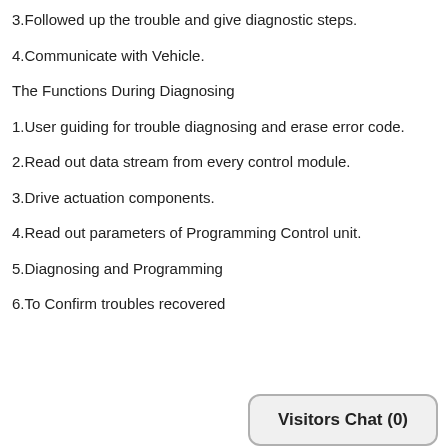3.Followed up the trouble and give diagnostic steps.
4.Communicate with Vehicle.
The Functions During Diagnosing
1.User guiding for trouble diagnosing and erase error code.
2.Read out data stream from every control module.
3.Drive actuation components.
4.Read out parameters of Programming Control unit.
5.Diagnosing and Programming
6.To Confirm troubles recovered